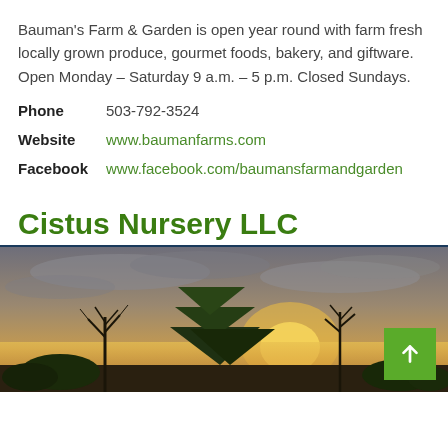Bauman's Farm & Garden is open year round with farm fresh locally grown produce, gourmet foods, bakery, and giftware. Open Monday – Saturday 9 a.m. – 5 p.m. Closed Sundays.
Phone  503-792-3524
Website  www.baumanfarms.com
Facebook  www.facebook.com/baumansfarmandgarden
Cistus Nursery LLC
[Figure (photo): Outdoor landscape photo showing silhouetted trees against a dramatic sunset sky with golden and grey clouds. A green scroll-to-top button is overlaid at the bottom right.]